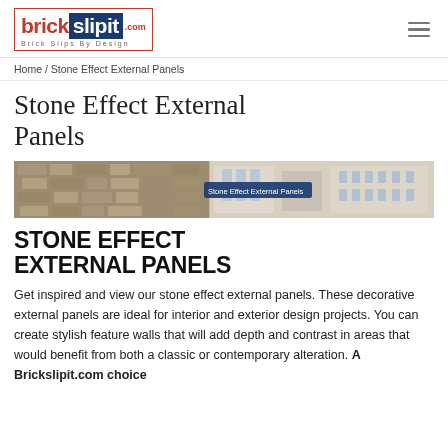brickslipit.com — Brick Slips By Design
Home / Stone Effect External Panels
Stone Effect External Panels
[Figure (photo): Hero banner image showing a building exterior with stone effect panels. A blue label overlay reads 'Stone Effect External Panels'.]
STONE EFFECT EXTERNAL PANELS
Get inspired and view our stone effect external panels. These decorative external panels are ideal for interior and exterior design projects. You can create stylish feature walls that will add depth and contrast in areas that would benefit from both a classic or contemporary alteration. A Brickslipit.com choice